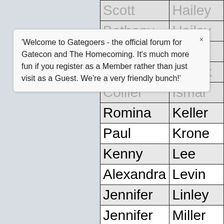'Welcome to Gategoers - the official forum for Gatecon and The Homecoming. It's much more fun if you register as a Member rather than just visit as a Guest. We're a very friendly bunch!'
| First Name | Last Name |
| --- | --- |
| Scott | Hailey |
| Bethany | Hailey |
| Caroline | Hope |
| Millia | Houck |
| Collier | Ismar |
| Romina | Keller |
| Paul | Krone |
| Kenny | Lee |
| Alexandra | Levin |
| Jennifer | Linley |
| Jennifer | Miller |
| Steven | O'Brien |
| Kathy | O'Brien |
| James | O'Kane |
| Mary | Peterse |
| Kathrin | Poersc |
| Taj | Sabih |
| Ian | Sandha |
| Jeremy | Smith |
| Sara | Smith |